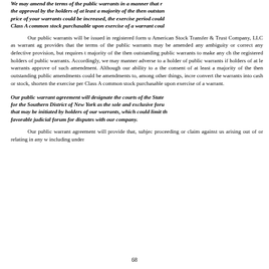We may amend the terms of the public warrants in a manner that requires the approval by the holders of at least a majority of the then outstanding price of your warrants could be increased, the exercise period could Class A common stock purchasable upon exercise of a warrant coul
Our public warrants will be issued in registered form u American Stock Transfer & Trust Company, LLC as warrant ag provides that the terms of the public warrants may be amended any ambiguity or correct any defective provision, but requires t majority of the then outstanding public warrants to make any ch the registered holders of public warrants. Accordingly, we may manner adverse to a holder of public warrants if holders of at le warrants approve of such amendment. Although our ability to a the consent of at least a majority of the then outstanding public amendments could be amendments to, among other things, incre convert the warrants into cash or stock, shorten the exercise per Class A common stock purchasable upon exercise of a warrant.
Our public warrant agreement will designate the courts of the State for the Southern District of New York as the sole and exclusive foru that may be initiated by holders of our warrants, which could limit th favorable judicial forum for disputes with our company.
Our public warrant agreement will provide that, subjec proceeding or claim against us arising out of or relating in any w including under
68